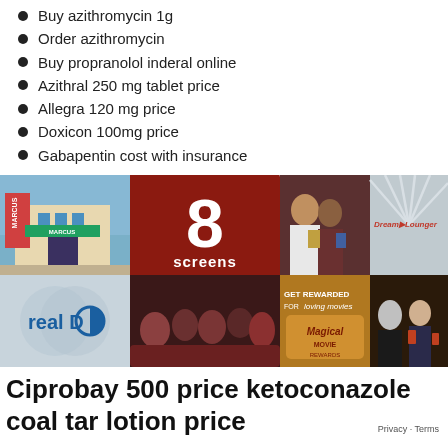Buy azithromycin 1g
Order azithromycin
Buy propranolol inderal online
Azithral 250 mg tablet price
Allegra 120 mg price
Doxicon 100mg price
Gabapentin cost with insurance
[Figure (photo): Marcus Rosemount Cinema advertisement collage showing theater exterior, 8 screens text on red background, couple watching movie, Dream Lounger seating ad, RealD logo, audience in theater seats, Magical Movie Rewards card promotion, and people in lobby.]
Ciprobay 500 price ketoconazole coal tar lotion price